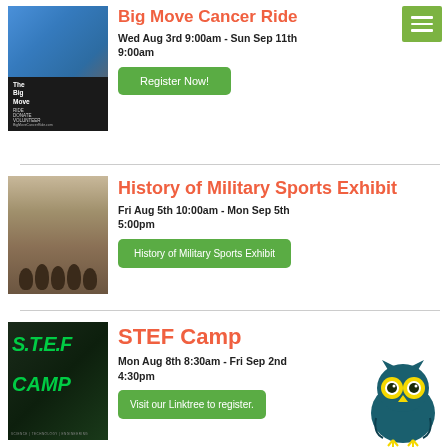[Figure (photo): The Big Move Cancer Ride event photo with riders and event logo]
Big Move Cancer Ride
Wed Aug 3rd 9:00am - Sun Sep 11th 9:00am
Register Now!
[Figure (photo): Black and white historical photo of military sports team]
History of Military Sports Exhibit
Fri Aug 5th 10:00am - Mon Sep 5th 5:00pm
History of Military Sports Exhibit
[Figure (photo): STEF Camp promotional image with green text on dark background]
STEF Camp
Mon Aug 8th 8:30am - Fri Sep 2nd 4:30pm
Visit our Linktree to register.
[Figure (illustration): Owl mascot with yellow and teal coloring]